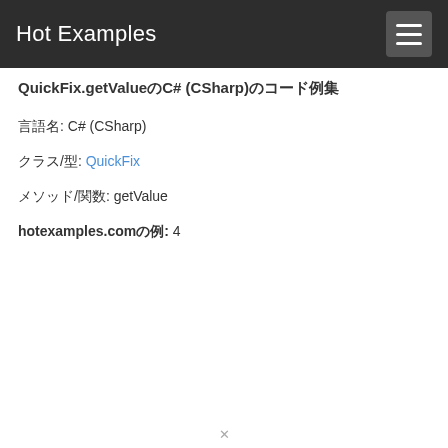Hot Examples
QuickFix.getValueのC# (CSharp)のコード例集
言語名: C# (CSharp)
クラス/型: QuickFix
メソッド/関数: getValue
hotexamples.comの例: 4